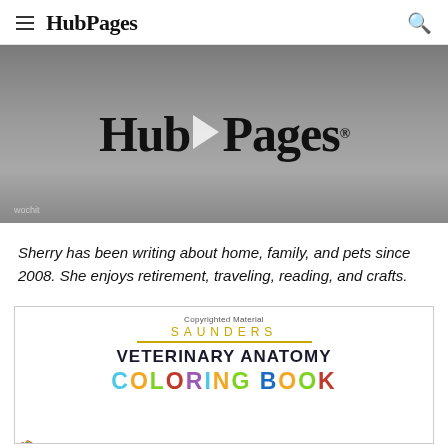HubPages
[Figure (screenshot): HubPages video thumbnail with dark grey background showing HubPages logo with play button, wochit watermark at bottom left]
Sherry has been writing about home, family, and pets since 2008. She enjoys retirement, traveling, reading, and crafts.
[Figure (photo): Saunders Veterinary Anatomy Coloring Book cover with colorful pencils on the left side]